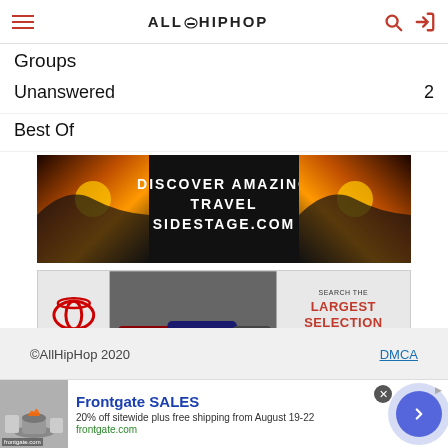ALL HIP HOP
Groups
Unanswered  2
Best Of
[Figure (other): Travel advertisement: DISCOVER AMAZING TRAVEL SIDESTAGE.COM with sunset/mountain background images]
[Figure (other): Toyota advertisement: SEARCH THE LARGEST SELECTION OF INVENTORY - SHOP TOYOTA]
©AllHipHop 2020   DMCA
[Figure (other): Frontgate SALES advertisement: 20% off sitewide plus free shipping from August 19-22, frontgate.com]